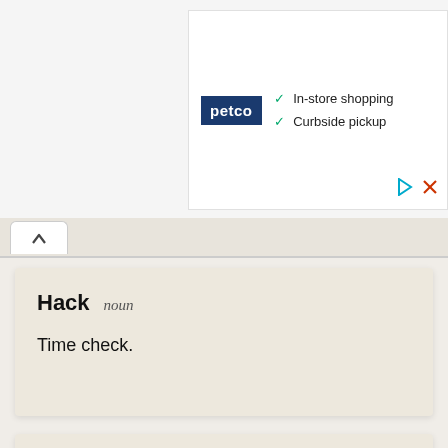[Figure (screenshot): Petco advertisement showing logo with In-store shopping and Curbside pickup checkmarks]
Hack noun
Time check.
Hack noun
(baseball) A swing of the bat at a pitched ball by the batter.
'He took a few hacks, but the pitcher finally struck